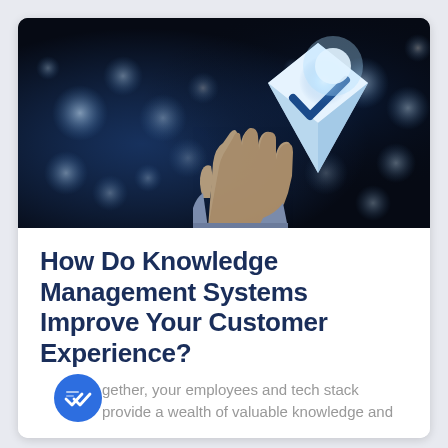[Figure (photo): Dark background photo of a hand reaching up toward a glowing 3D checkmark/shield icon, with blue bokeh light circles in the background, suggesting technology and verification theme.]
How Do Knowledge Management Systems Improve Your Customer Experience?
gether, your employees and tech stack provide a wealth of valuable knowledge and